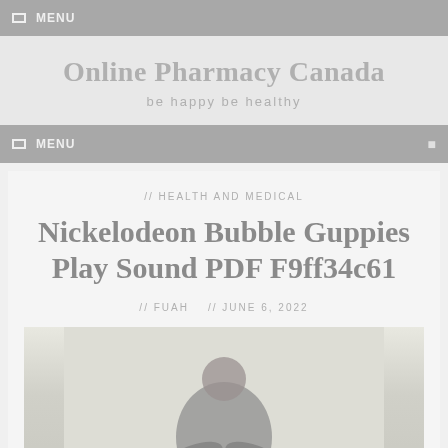☰ MENU
Online Pharmacy Canada
be happy be healthy
☰ MENU
// HEALTH AND MEDICAL
Nickelodeon Bubble Guppies Play Sound PDF F9ff34c61
// FUAH  // JUNE 6, 2022
[Figure (photo): A man in athletic wear sitting and stretching forward to touch his feet, outdoors on grass, shown from the waist up]